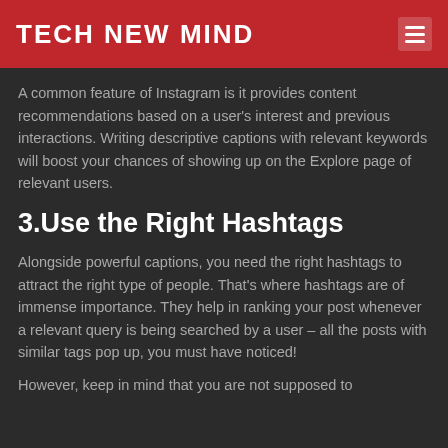TECH NEW MIND
A common feature of Instagram is it provides content recommendations based on a user's interest and previous interactions. Writing descriptive captions with relevant keywords will boost your chances of showing up on the Explore page of relevant users.
3.Use the Right Hashtags
Alongside powerful captions, you need the right hashtags to attract the right type of people. That's where hashtags are of immense importance. They help in ranking your post whenever a relevant query is being searched by a user – all the posts with similar tags pop up, you must have noticed!
However, keep in mind that you are not supposed to